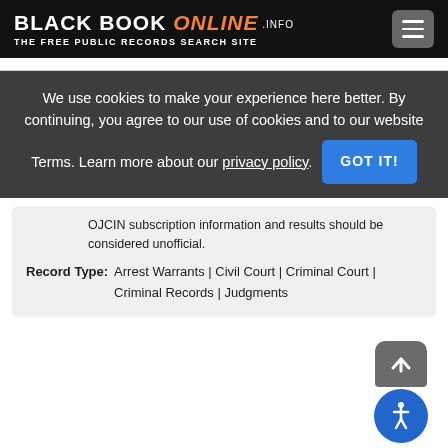BLACK BOOK ONLINE .INFO — THE FREE PUBLIC RECORDS SEARCH SITE
We use cookies to make your experience here better. By continuing, you agree to our use of cookies and to our website Terms. Learn more about our privacy policy.
OJCIN subscription information and results should be considered unofficial.
Record Type: Arrest Warrants | Civil Court | Criminal Court | Criminal Records | Judgments